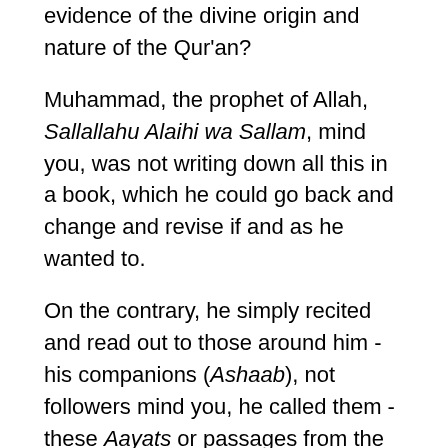evidence of the divine origin and nature of the Qur'an?
Muhammad, the prophet of Allah, Sallallahu Alaihi wa Sallam, mind you, was not writing down all this in a book, which he could go back and change and revise if and as he wanted to.
On the contrary, he simply recited and read out to those around him - his companions (Ashaab), not followers mind you, he called them - these Aayats or passages from the Qur'an, these divine revelations, as the Archangel Gabriel delivered them to him.
So, what is the probability or likelihood that in